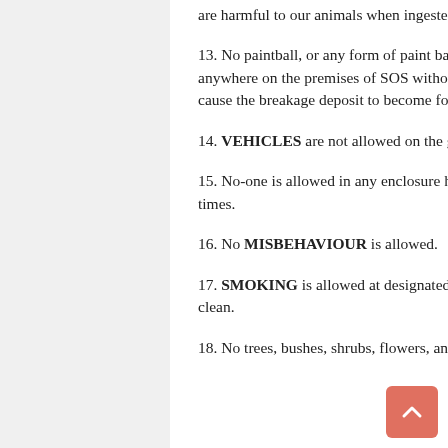are harmful to our animals when ingested.
13. No paintball, or any form of paint based game, whether biodegradable or not, will be allowed anywhere on the premises of SOS without express prior permission. Non-adherence of this rule will cause the breakage deposit to become forfeit in total.
14. VEHICLES are not allowed on the grass, pastures and at the pool.
15. No-one is allowed in any enclosure housing ANIMALS. GATES must be kept closed at all times.
16. No MISBEHAVIOUR is allowed.
17. SMOKING is allowed at designated areas. Camp leaders are to ensure that the area remains clean.
18. No trees, bushes, shrubs, flowers, animals or bird life may be DAMAGED or HARMED